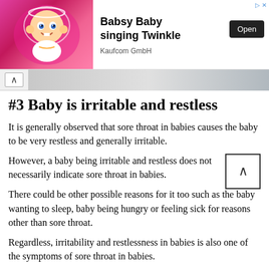[Figure (screenshot): Advertisement banner for 'Babsy Baby singing Twinkle' app by Kaufcom GmbH, with animated baby image on pink background, Open button, and navigation arrow]
#3 Baby is irritable and restless
It is generally observed that sore throat in babies causes the baby to be very restless and generally irritable.
However, a baby being irritable and restless does not necessarily indicate sore throat in babies.
There could be other possible reasons for it too such as the baby wanting to sleep, baby being hungry or feeling sick for reasons other than sore throat.
Regardless, irritability and restlessness in babies is also one of the symptoms of sore throat in babies.